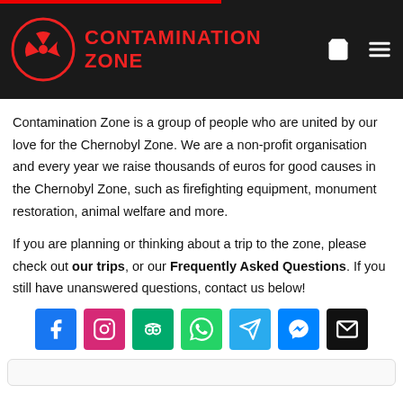CONTAMINATION ZONE
Contamination Zone is a group of people who are united by our love for the Chernobyl Zone. We are a non-profit organisation and every year we raise thousands of euros for good causes in the Chernobyl Zone, such as firefighting equipment, monument restoration, animal welfare and more.
If you are planning or thinking about a trip to the zone, please check out our trips, or our Frequently Asked Questions. If you still have unanswered questions, contact us below!
[Figure (infographic): Row of 7 social media icon buttons: Facebook (blue), Instagram (pink/red), TripAdvisor (green), WhatsApp (green), Telegram (light blue), Messenger (blue), Email (black)]